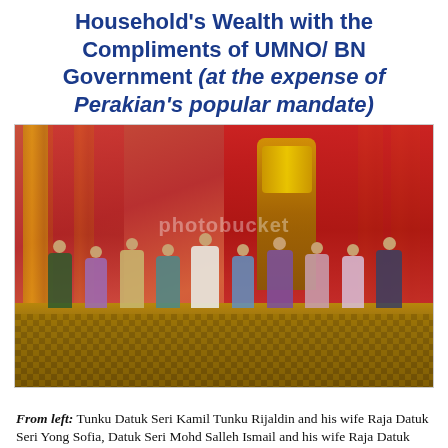Household's Wealth with the Compliments of UMNO/ BN Government (at the expense of Perakian's popular mandate)
[Figure (photo): Group photo of approximately 11 people in traditional Malay formal attire standing in an ornate palace hall with red curtains, golden pillars, and a decorative throne. The people are dressed in various colors including green, purple, blue, white, and pink traditional outfits.]
From left: Tunku Datuk Seri Kamil Tunku Rijaldin and his wife Raja Datuk Seri Yong Sofia, Datuk Seri Mohd Salleh Ismail and his wife Raja Datuk Seri Azureen, Raja Muda Perak Raja Dr...